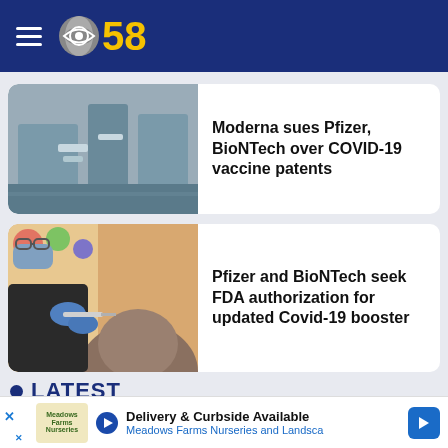CBS 58
[Figure (photo): Laboratory equipment photo for Moderna vs Pfizer article]
Moderna sues Pfizer, BioNTech over COVID-19 vaccine patents
[Figure (photo): Person receiving vaccine injection photo for Pfizer/BioNTech booster article]
Pfizer and BioNTech seek FDA authorization for updated Covid-19 booster
LATEST
Hiura helps Brewers to walk-off winner
Delivery & Curbside Available Meadows Farms Nurseries and Landsca